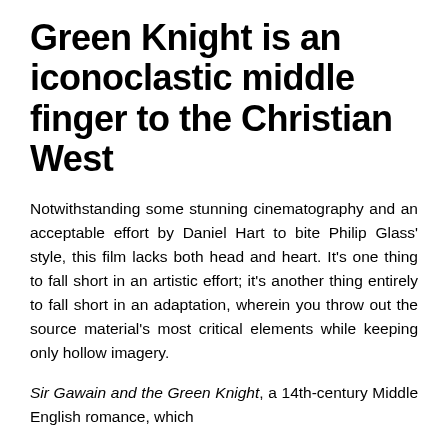Green Knight is an iconoclastic middle finger to the Christian West
Notwithstanding some stunning cinematography and an acceptable effort by Daniel Hart to bite Philip Glass' style, this film lacks both head and heart. It's one thing to fall short in an artistic effort; it's another thing entirely to fall short in an adaptation, wherein you throw out the source material's most critical elements while keeping only hollow imagery.
Sir Gawain and the Green Knight, a 14th-century Middle English romance, which